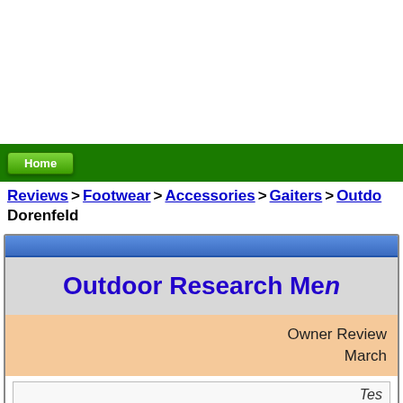[Figure (screenshot): White space area at top of page (advertisement area placeholder)]
Home
Reviews > Footwear > Accessories > Gaiters > Outdo... Dorenfeld
Outdoor Research Men... Owner Review March...
Tes...